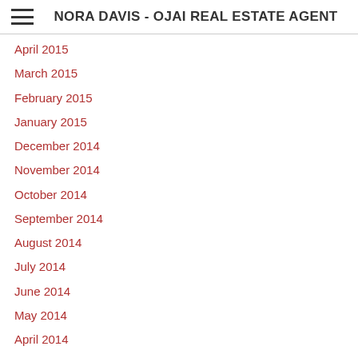NORA DAVIS - OJAI REAL ESTATE AGENT
April 2015
March 2015
February 2015
January 2015
December 2014
November 2014
October 2014
September 2014
August 2014
July 2014
June 2014
May 2014
April 2014
February 2014
January 2014
December 2013
October 2013
September 2013